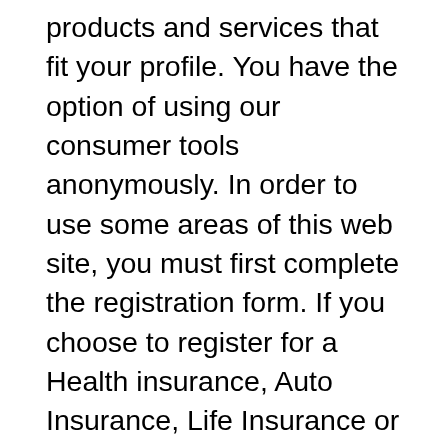products and services that fit your profile. You have the option of using our consumer tools anonymously. In order to use some areas of this web site, you must first complete the registration form. If you choose to register for a Health insurance, Auto Insurance, Life Insurance or Home insurance quote, we request certain personally identifiable information from you such as your email address, gender, age and zip code. This information is used to provide you with an accurate quote. Additionally, this website collects personal data from its Users for the following purposes and using the following services: Access to third party services' accounts, such as access to the Facebook account. Permissions: Email Twitter Tweet button and social widgets, Facebook Like button and social widgets and Google+ +1 button and social